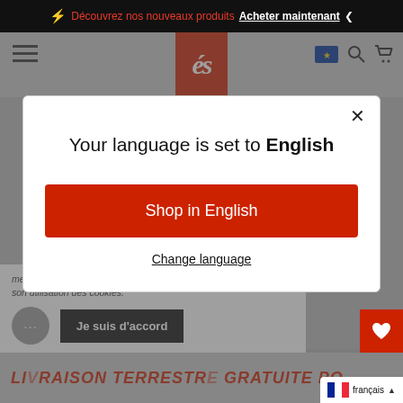⚡ Découvrez nos nouveaux produits  Acheter maintenant❮
[Figure (screenshot): Website navigation bar with hamburger menu, red logo 'és', EU flag icon, search icon, and cart icon on grey background]
Your language is set to English
Shop in English
Change language
meilleure expérience d'achat. En utilisant ce site, vous acceptez son utilisation des cookies.
Je suis d'accord
LIVRAISON TERRESTRE GRATUITE PO...
français